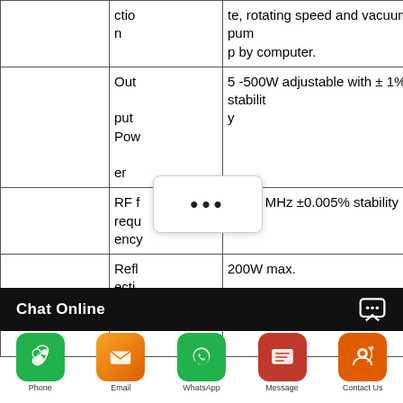|  | Feature | Specification |
| --- | --- | --- |
|  | ction n | te, rotating speed and vacuum pump by computer. |
|  | Output Power | 5 -500W adjustable with ± 1% stability |
|  | RF frequency | 13.56 MHz ±0.005% stability |
|  | Reflection Power | 200W max. |